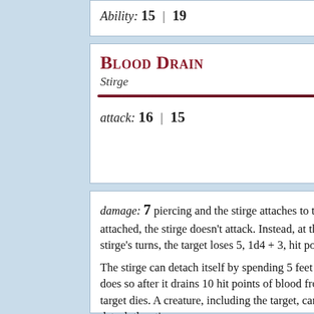Ability: 15 | 19
Blood Drain
Stirge
attack: 16 | 15
damage: 7 piercing and the stirge attaches to the target. While attached, the stirge doesn't attack. Instead, at the start of each of the stirge's turns, the target loses 5, 1d4 + 3, hit points due to blood loss.

The stirge can detach itself by spending 5 feet of its movement. It does so after it drains 10 hit points of blood from the target or the target dies. A creature, including the target, can use its action to detach the stirge.